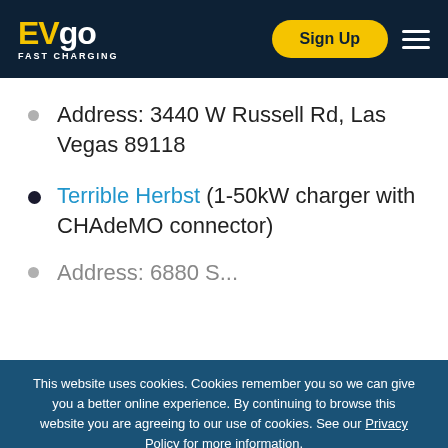EVgo FAST CHARGING | Sign Up
Address: 3440 W Russell Rd, Las Vegas 89118
Terrible Herbst (1-50kW charger with CHAdeMO connector)
Address: 6880 S...
This website uses cookies. Cookies remember you so we can give you a better online experience. By continuing to browse this website you are agreeing to our use of cookies. See our Privacy Policy for more information.
Continue